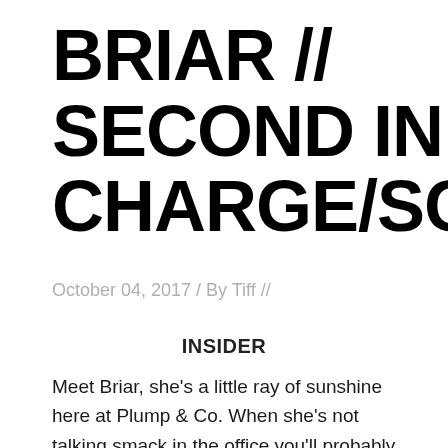BRIAR // SECOND IN CHARGE/SCIENTI
October 04, 2017 / By Tiff //
INSIDER
Meet Briar, she's a little ray of sunshine here at Plump & Co. When she's not talking smack in the office you'll probably find her monitoring newts or finding a new species of weta out in the wild. She also runs her own kids club and helps Jacinta with our amazing workshops roaming